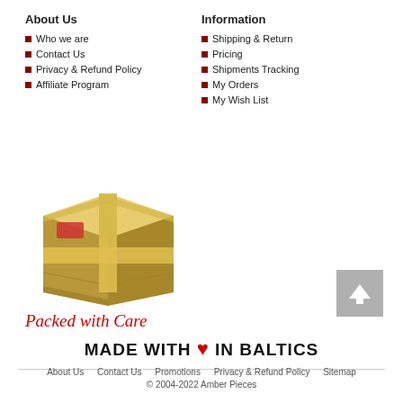About Us
Who we are
Contact Us
Privacy & Refund Policy
Affiliate Program
Information
Shipping & Return
Pricing
Shipments Tracking
My Orders
My Wish List
[Figure (illustration): Cardboard package box tied with a ribbon, labeled Packed with Care]
Packed with Care
[Figure (infographic): MADE WITH (red heart) IN BALTICS text banner]
About Us  Contact Us  Promotions  Privacy & Refund Policy  Sitemap
© 2004-2022 Amber Pieces